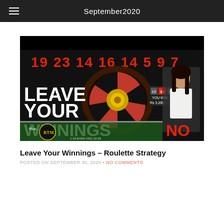September2020
[Figure (screenshot): Roulette strategy YouTube thumbnail showing a roulette wheel, a female dealer, bold white text reading LEAVE YOUR WINNINGS, red numbers 19 23 14 16 14 5 9 7 at the top, a win display showing 15 19 4 YOU WIN Rs 3,200, and red text NO at the bottom right. Logo RTM visible bottom left with Rou text.]
Leave Your Winnings – Roulette Strategy
POSTED ON SEPTEMBER 30, 2020 • NO COMMENTS